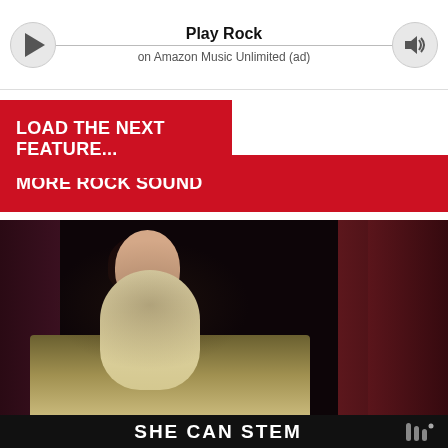[Figure (screenshot): Amazon Music player bar with play button, 'Play Rock' title and 'on Amazon Music Unlimited (ad)' subtitle, and volume button]
LOAD THE NEXT FEATURE...
MORE ROCK SOUND
[Figure (photo): Dark music video frame showing a woman in a light dress against a moody bedroom background]
SHE CAN STEM